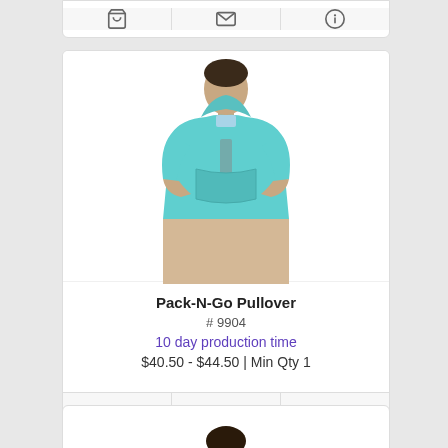[Figure (screenshot): Top strip of a previous product card showing shopping cart, email, and info icons]
[Figure (photo): Man wearing a light blue/teal Pack-N-Go Pullover hoodie]
Pack-N-Go Pullover
# 9904
10 day production time
$40.50 - $44.50 | Min Qty 1
[Figure (screenshot): Action buttons: shopping cart icon, email icon, info icon]
[Figure (photo): Bottom of page showing top of another product card with a person photo]